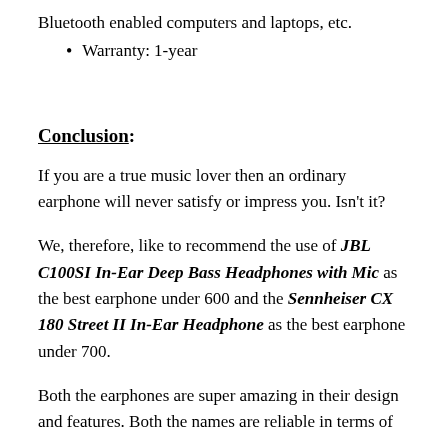Bluetooth enabled computers and laptops, etc.
Warranty: 1-year
Conclusion:
If you are a true music lover then an ordinary earphone will never satisfy or impress you. Isn't it?
We, therefore, like to recommend the use of JBL C100SI In-Ear Deep Bass Headphones with Mic as the best earphone under 600 and the Sennheiser CX 180 Street II In-Ear Headphone as the best earphone under 700.
Both the earphones are super amazing in their design and features. Both the names are reliable in terms of